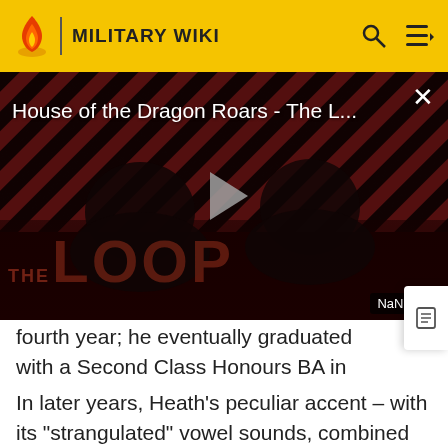MILITARY WIKI
[Figure (screenshot): Video player showing 'House of the Dragon Roars - The L...' with a dark background featuring diagonal red and black stripes, a play button in the center, 'THE LOOP' text overlay, and 'NaN:NaN' timer badge. Two silhouetted figures visible.]
fourth year; he eventually graduated with a Second Class Honours BA in Philosophy, Politics and Economics in 19
In later years, Heath's peculiar accent – with its "strangulated" vowel sounds, combined with his non-Standard pronunciation of "l" as "w" and "out" as "eout" –